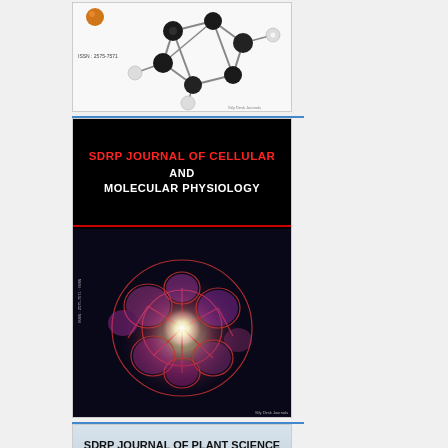[Figure (illustration): Journal cover for an SDRP chemistry/molecular journal showing a 3D molecular structure with black and white spheres connected by bonds on a white background. ISSN: 2575-7571 shown on left.]
[Figure (illustration): Journal cover for SDRP Journal of Cellular and Molecular Physiology. Black background with red and white bold title text. Red horizontal divider line. Lower half shows a fluorescence microscopy image of cells (pink/purple cells with red outlines and bright white center glow). ISSN visible on left spine.]
[Figure (illustration): Journal cover for SDRP Journal of Plant Science with ISSN: 2575-7571. Light blue/grey gradient background in header area with green plant field photograph below.]